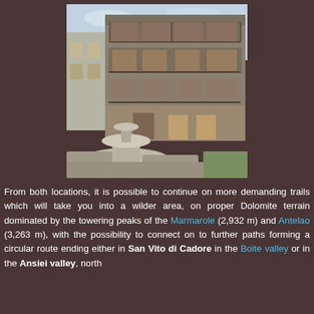[Figure (photo): A stone fountain in the foreground with a multi-story traditional alpine building with wooden balconies in the background. The building has multiple floors with wooden railings and balconies. The scene appears to be a town square in a Dolomite village.]
From both locations, it is possible to continue on more demanding trails which will take you into a wilder area, on proper Dolomite terrain dominated by the towering peaks of the Marmarole (2,932 m) and Antelao (3,263 m), with the possibility to connect on to further paths forming a circular route ending either in San Vito di Cadore in the Boite valley or in the Ansiei valley, north [continues]